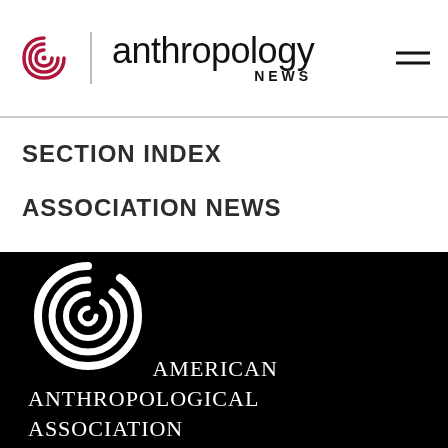anthropology NEWS
SECTION INDEX
ASSOCIATION NEWS
IN MEMORIAM
[Figure (logo): American Anthropological Association logo with spiral/swirl emblem in white on black background, with text AMERICAN ANTHROPOLOGICAL ASSOCIATION]